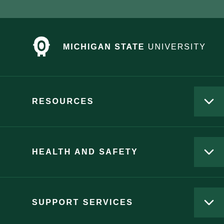[Figure (logo): Michigan State University logo with Spartan helmet and text MICHIGAN STATE UNIVERSITY]
RESOURCES
HEALTH AND SAFETY
SUPPORT SERVICES
WORKING AT MSU
[Figure (infographic): Social media icons: Facebook (f), Twitter (bird), and plus (+) inside circles]